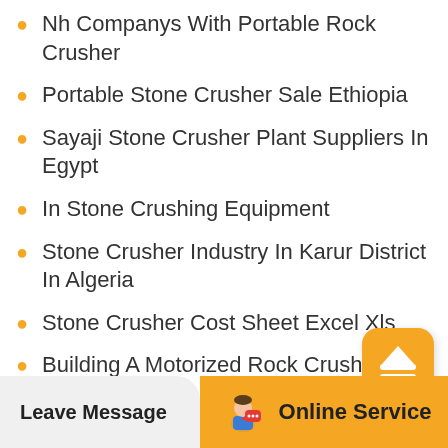Nh Companys With Portable Rock Crusher
Portable Stone Crusher Sale Ethiopia
Sayaji Stone Crusher Plant Suppliers In Egypt
In Stone Crushing Equipment
Stone Crusher Industry In Karur District In Algeria
Stone Crusher Cost Sheet Excel Xls
Building A Motorized Rock Crusher
Stone Crushing Plant 40tph
Leave Message   Online Service